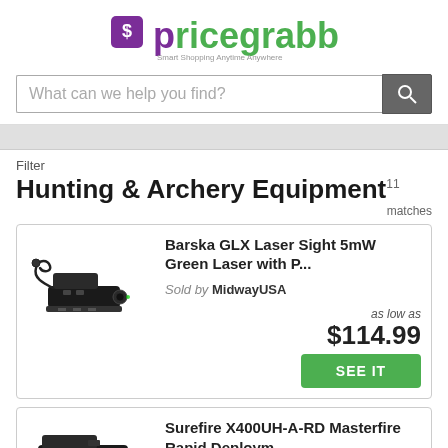[Figure (logo): PriceGrabber logo with price tag icon, purple and green text, tagline 'Smart Shopping Anytime Anywhere']
What can we help you find?
Filter
Hunting & Archery Equipment 11 matches
[Figure (photo): Barska GLX laser sight device in black with coiled cable]
Barska GLX Laser Sight 5mW Green Laser with P...
Sold by MidwayUSA
as low as $114.99
SEE IT
[Figure (photo): Surefire X400UH-A-RD Masterfire Rapid Deployment device in black]
Surefire X400UH-A-RD Masterfire Rapid Deploym...
Sold by MidwayUSA